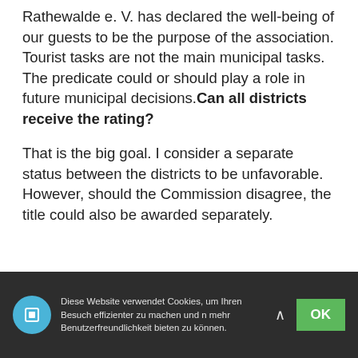Rathewalde e. V. has declared the well-being of our guests to be the purpose of the association. Tourist tasks are not the main municipal tasks. The predicate could or should play a role in future municipal decisions. Can all districts receive the rating?
That is the big goal. I consider a separate status between the districts to be unfavorable. However, should the Commission disagree, the title could also be awarded separately.
Diese Website verwendet Cookies, um Ihren Besuch effizienter zu machen und n mehr Benutzerfreundlichkeit bieten zu können.